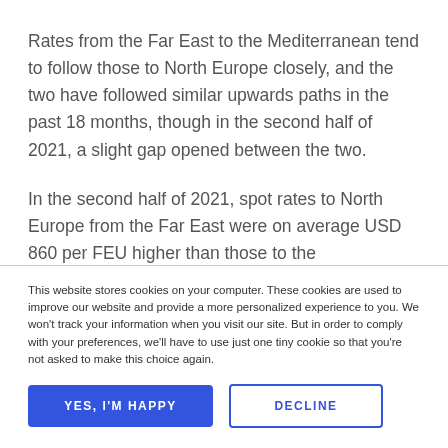Rates from the Far East to the Mediterranean tend to follow those to North Europe closely, and the two have followed similar upwards paths in the past 18 months, though in the second half of 2021, a slight gap opened between the two.
In the second half of 2021, spot rates to North Europe from the Far East were on average USD 860 per FEU higher than those to the Mediterranean, while long term rates were USD 1 350 per FEU higher.
This website stores cookies on your computer. These cookies are used to improve our website and provide a more personalized experience to you. We won't track your information when you visit our site. But in order to comply with your preferences, we'll have to use just one tiny cookie so that you're not asked to make this choice again.
YES, I'M HAPPY
DECLINE